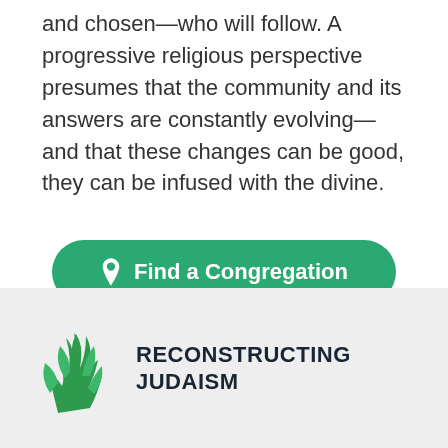and chosen—who will follow. A progressive religious perspective presumes that the community and its answers are constantly evolving—and that these changes can be good, they can be infused with the divine.
[Figure (other): Green rounded button with map pin icon and text 'Find a Congregation']
[Figure (logo): Reconstructing Judaism logo: green wheat/leaf icon with bold dark text 'RECONSTRUCTING JUDAISM']